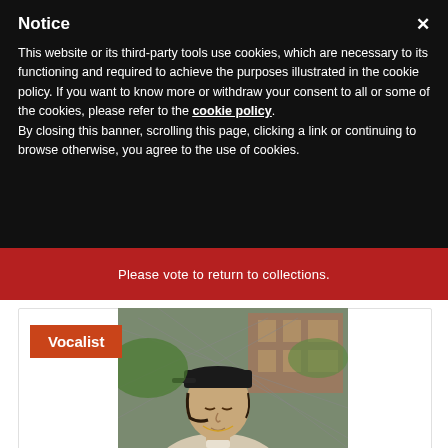Notice
This website or its third-party tools use cookies, which are necessary to its functioning and required to achieve the purposes illustrated in the cookie policy. If you want to know more or withdraw your consent to all or some of the cookies, please refer to the cookie policy.
By closing this banner, scrolling this page, clicking a link or continuing to browse otherwise, you agree to the use of cookies.
Please vote to return to collections.
[Figure (photo): Young man wearing a backwards cap and white top, standing in front of a chain-link fence with a brick building in the background. A red 'Vocalist' label overlays the lower-left area.]